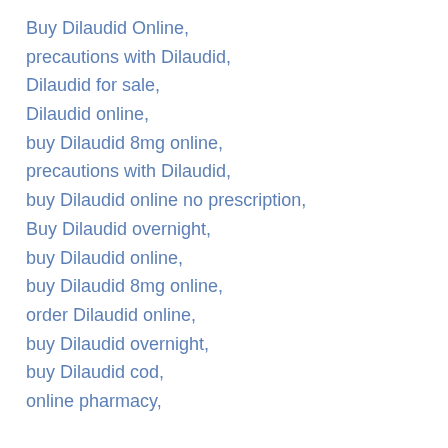Buy Dilaudid Online,
precautions with Dilaudid,
Dilaudid for sale,
Dilaudid online,
buy Dilaudid 8mg online,
precautions with Dilaudid,
buy Dilaudid online no prescription,
Buy Dilaudid overnight,
buy Dilaudid online,
buy Dilaudid 8mg online,
order Dilaudid online,
buy Dilaudid overnight,
buy Dilaudid cod,
online pharmacy,